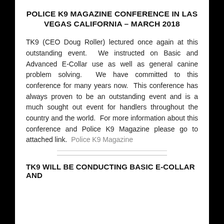POLICE K9 MAGAZINE CONFERENCE IN LAS VEGAS CALIFORNIA – MARCH 2018
TK9 (CEO Doug Roller) lectured once again at this outstanding event.  We instructed on Basic and Advanced E-Collar use as well as general canine problem solving.  We have committed to this conference for many years now.  This conference has always proven to be an outstanding event and is a much sought out event for handlers throughout the country and the world.  For more information about this conference and Police K9 Magazine please go to attached link.  Police K9 Magazine
TK9 WILL BE CONDUCTING BASIC E-COLLAR AND